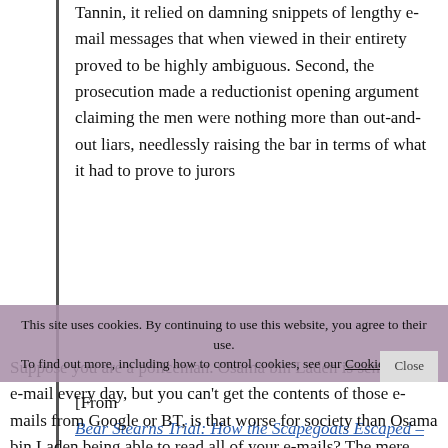Tannin, it relied on damning snippets of lengthy e-mail messages that when viewed in their entirety proved to be highly ambiguous. Second, the prosecution made a reductionist opening argument claiming the men were nothing more than out-and-out liars, needlessly raising the bar in terms of what it had to prove to jurors
[From Bear Stearns Trial: How the Scapegoats Escaped – DealBook Blog – NYTimes.com ]
This site uses cookies. By continuing to use this website, you agree to their use. To find out more, including how to control cookies, see our Cookies Policy
Suppose you are a policeman. Osama bin Laden is sending me e-mail every day, but you can't get the contents of those e-mails from Google or BT, is that worse for society than Osama bin Laden being able to read all of your e-mails? The mere fact that I'm getting e-mail, text message or care packages from a